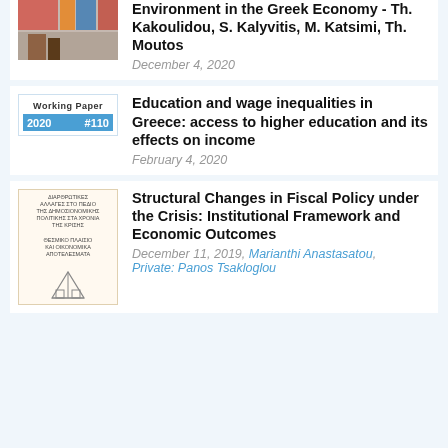Environment in the Greek Economy - Th. Kakoulidou, S. Kalyvitis, M. Katsimi, Th. Moutos
December 4, 2020
[Figure (illustration): Working Paper 2020 #110 cover thumbnail with blue bar]
Education and wage inequalities in Greece: access to higher education and its effects on income
February 4, 2020
[Figure (illustration): Book cover thumbnail with Greek text and geometric figure]
Structural Changes in Fiscal Policy under the Crisis: Institutional Framework and Economic Outcomes
December 11, 2019, Marianthi Anastasatou, Private: Panos Tsakloglou